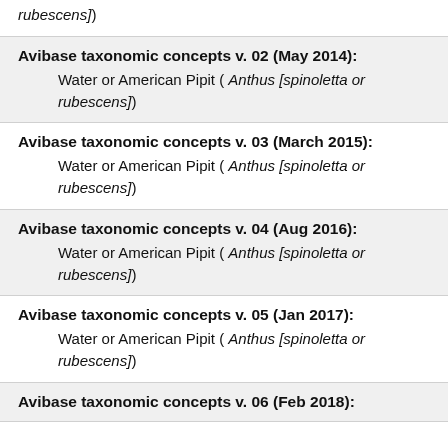rubescens])
Avibase taxonomic concepts v. 02 (May 2014): Water or American Pipit ( Anthus [spinoletta or rubescens])
Avibase taxonomic concepts v. 03 (March 2015): Water or American Pipit ( Anthus [spinoletta or rubescens])
Avibase taxonomic concepts v. 04 (Aug 2016): Water or American Pipit ( Anthus [spinoletta or rubescens])
Avibase taxonomic concepts v. 05 (Jan 2017): Water or American Pipit ( Anthus [spinoletta or rubescens])
Avibase taxonomic concepts v. 06 (Feb 2018):